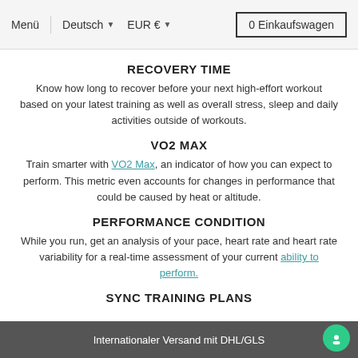Menü  Deutsch ▾  EUR € ▾  0 Einkaufswagen
RECOVERY TIME
Know how long to recover before your next high-effort workout based on your latest training as well as overall stress, sleep and daily activities outside of workouts.
VO2 MAX
Train smarter with VO2 Max, an indicator of how you can expect to perform. This metric even accounts for changes in performance that could be caused by heat or altitude.
PERFORMANCE CONDITION
While you run, get an analysis of your pace, heart rate and heart rate variability for a real-time assessment of your current ability to perform.
SYNC TRAINING PLANS
Internationaler Versand mit DHL/GLS